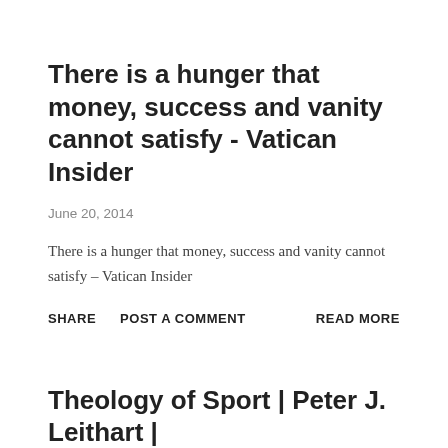There is a hunger that money, success and vanity cannot satisfy - Vatican Insider
June 20, 2014
There is a hunger that money, success and vanity cannot satisfy – Vatican Insider
SHARE   POST A COMMENT   READ MORE
Theology of Sport | Peter J. Leithart |